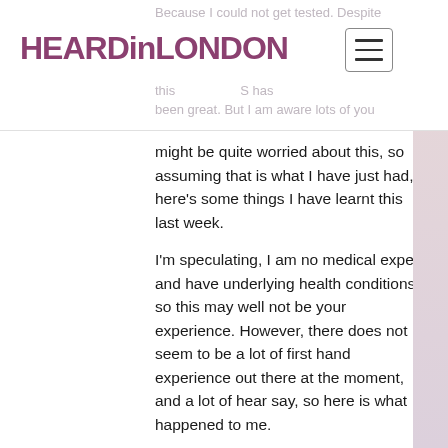HEARDinLONDON
Because I could not get tested. Despite this has been great. But I am aware lots of you might be quite worried about this, so assuming that is what I have just had, here's some things I have learnt this last week.
I'm speculating, I am no medical expert, and have underlying health conditions, so this may well not be your experience. However, there does not seem to be a lot of first hand experience out there at the moment, and a lot of hear say, so here is what happened to me.
I got back from holiday two weeks ago. Not from a country on the "at risk" list, but I was hanging around an